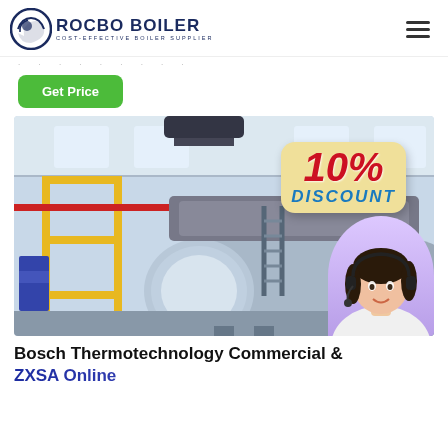[Figure (logo): Rocbo Boiler logo with circular icon and text 'ROCBO BOILER - COST-EFFECTIVE BOILER SUPPLIER']
Get Price
[Figure (photo): Industrial boiler in a factory/plant setting with yellow pipes. Overlay shows '10% DISCOUNT' sticker and a customer service agent photo in bottom right corner.]
Bosch Thermotechnology Commercial & ZXSA Online